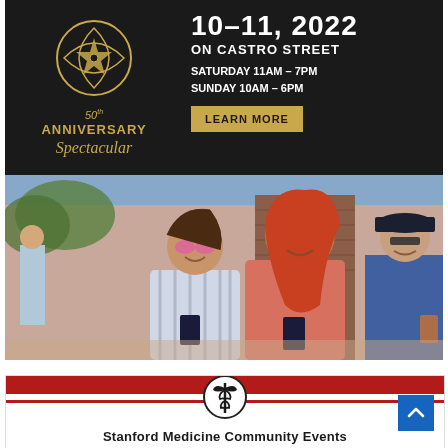[Figure (infographic): Castro Street Fair 50th Anniversary Spectacular advertisement banner. Dark background with gold circle logo on left, event dates '10-11, 2022 ON CASTRO STREET', hours 'SATURDAY 11AM-7PM SUNDAY 10AM-6PM', and a 'LEARN MORE' button on right.]
[Figure (photo): Festival outdoor photo showing two smiling women in sunglasses holding drinks, with other festivalgoers in the background on a sunny day at Castro Street Fair.]
[Figure (infographic): Stanford Medicine Community Events advertisement with red bar header, caduceus medical logo circle, text 'Stanford Medicine Community Events' and 'September Events' in red italic text at the bottom.]